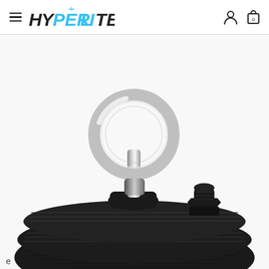HYPERLITE
[Figure (photo): Close-up product photo of a high-bay LED light fixture showing a chrome eye bolt mounting hook at the top center, a black cable gland connector to the right, and the ribbed black aluminum heat sink body of the fixture visible at the bottom.]
e